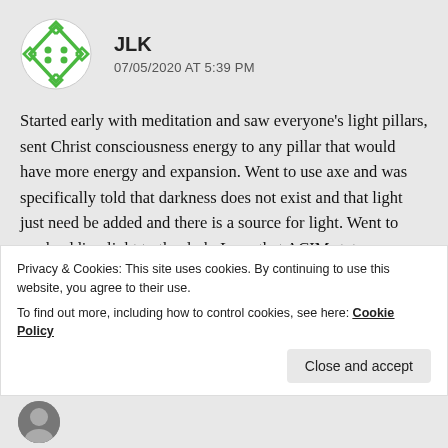[Figure (logo): Green diamond/rhombus shaped logo with dots inside and arrow-like chevrons on each side, white background circular badge]
JLK
07/05/2020 AT 5:39 PM
Started early with meditation and saw everyone’s light pillars, sent Christ consciousness energy to any pillar that would have more energy and expansion. Went to use axe and was specifically told that darkness does not exist and that light just need be added and there is a source for light. Went to work adding light to the dark. Love that ACIM states separation never happened. Loved experiencing the oneness with you all :)
Privacy & Cookies: This site uses cookies. By continuing to use this website, you agree to their use.
To find out more, including how to control cookies, see here: Cookie Policy
Close and accept
[Figure (photo): Partial circular avatar photo at bottom left, partially cut off]